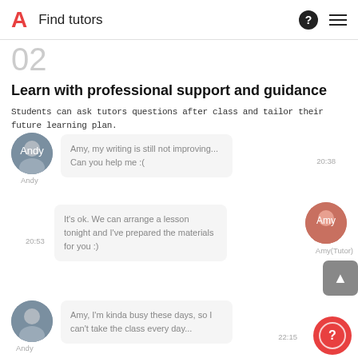Find tutors
02
Learn with professional support and guidance
Students can ask tutors questions after class and tailor their future learning plan.
[Figure (screenshot): Chat interface showing messages between Andy (student) and Amy (Tutor). Message 1 from Andy at 20:38: 'Amy, my writing is still not improving... Can you help me :('. Message 2 from Amy(Tutor) at 20:53: 'It’s ok. We can arrange a lesson tonight and I’ve prepared the materials for you :)'. Message 3 from Andy at 22:15: 'Amy, I’m kinda busy these days, so I can’t take the class every day...']